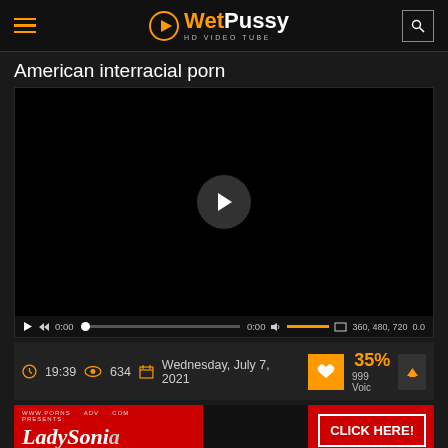WetPussy HD VIDEO TUBE
American interracial porn
[Figure (screenshot): Black video player area with a circular play button in the center, and a playback controls bar at the bottom showing play, rewind, time 0:00, progress bar, volume, resolution options 360, 480, 720, and speed 0.0]
19:39  634  Wednesday, July 7, 2021  35%  999 Voices